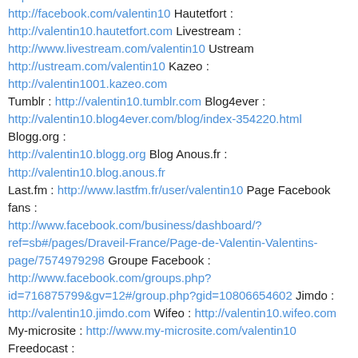http://www.tripadvisor.com/members/valentin10 Virtual Tourist : http://members.virtualtourist.com/m/103fc8/ Facebook : http://facebook.com/valentin10 Hautetfort : http://valentin10.hautetfort.com Livestream : http://www.livestream.com/valentin10 Ustream http://ustream.com/valentin10 Kazeo : http://valentin1001.kazeo.com Tumblr : http://valentin10.tumblr.com Blog4ever : http://valentin10.blog4ever.com/blog/index-354220.html Blogg.org : http://valentin10.blogg.org Blog Anous.fr : http://valentin10.blog.anous.fr Last.fm : http://www.lastfm.fr/user/valentin10 Page Facebook fans : http://www.facebook.com/business/dashboard/?ref=sb#/pages/Draveil-France/Page-de-Valentin-Valentins-page/7574979298 Groupe Facebook : http://www.facebook.com/groups.php?id=716875799&gv=12#/group.php?gid=10806654602 Jimdo : http://valentin10.jimdo.com Wifeo : http://valentin10.wifeo.com My-microsite : http://www.my-microsite.com/valentin10 Freedocast : http://www.freedocast.com/valentin10 Spreadshirt : http://valentin10.spreadshirt.com Lalibreblogs.be : http://valentin10.lalibreblogs.be